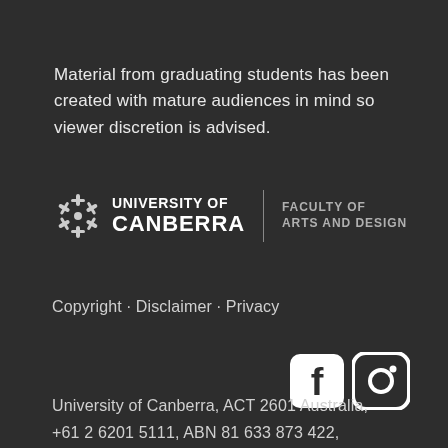Material from graduating students has been created with mature audiences in mind so viewer discretion is advised.
[Figure (logo): University of Canberra logo with snowflake icon, wordmark UNIVERSITY OF CANBERRA, vertical divider, and FACULTY OF ARTS AND DESIGN text]
Copyright · Disclaimer · Privacy
[Figure (logo): Facebook and Instagram social media icons]
University of Canberra, ACT 2601 Australia, +61 2 6201 5111, ABN 81 633 873 422,